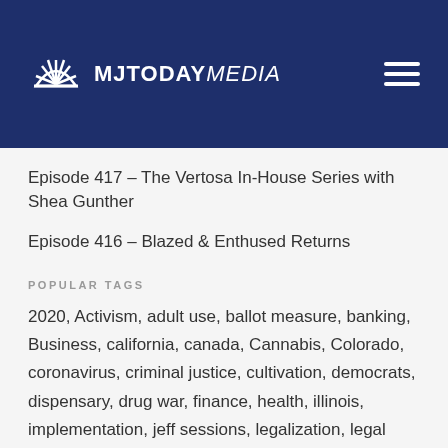MJTODAY MEDIA
Episode 417 – The Vertosa In-House Series with Shea Gunther
Episode 416 – Blazed & Enthused Returns
POPULAR TAGS
2020, Activism, adult use, ballot measure, banking, Business, california, canada, Cannabis, Colorado, coronavirus, criminal justice, cultivation, democrats, dispensary, drug war, finance, health, illinois, implementation, jeff sessions, legalization, legal marijuana, Legislation, maine, Marijuana,